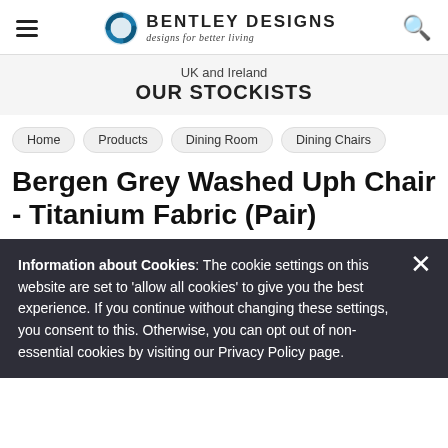Bentley Designs — designs for better living
UK and Ireland
OUR STOCKISTS
Home
Products
Dining Room
Dining Chairs
Bergen Grey Washed Uph Chair - Titanium Fabric (Pair)
Information about Cookies: The cookie settings on this website are set to 'allow all cookies' to give you the best experience. If you continue without changing these settings, you consent to this. Otherwise, you can opt out of non-essential cookies by visiting our Privacy Policy page.